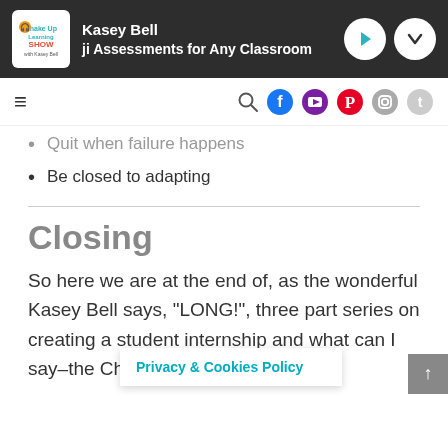Kasey Bell — Assessments for Any Classroom
Quit when failure happens
Be closed to adapting
Closing
So here we are at the end of, as the wonderful Kasey Bell says, “LONG!”, three part series on creating a student internship and what can I say–the Chrome Squad is amazing
Privacy & Cookies Policy